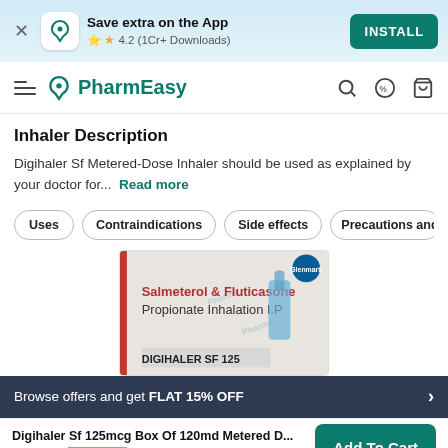Save extra on the App | 4.2 (1Cr+ Downloads) | INSTALL
PharmEasy
Inhaler Description
Digihaler Sf Metered-Dose Inhaler should be used as explained by your doctor for... Read more
Uses
Contraindications
Side effects
Precautions and Warni
[Figure (photo): Product packaging of Salmeterol & Fluticasone Propionate Inhalation IP inhaler (Digihaler SF 125)]
Browse offers and get FLAT 15% OFF
Digihaler Sf 125mcg Box Of 120md Metered D... ₹297.5 15% OFF | Add To Cart